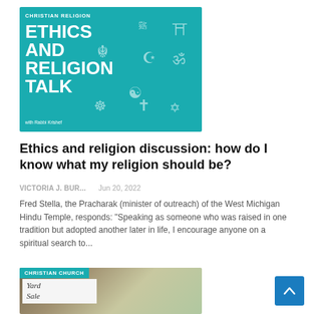[Figure (illustration): Teal/turquoise podcast cover image with title 'ETHICS AND RELIGION TALK with Rabbi Krishef' and various religious symbols (Sikh Khanda, crescent and star, Om, yin-yang, cross, Star of David, Torii gate, Arabic text). Badge reading 'CHRISTIAN RELIGION' in top left.]
Ethics and religion discussion: how do I know what my religion should be?
VICTORIA J. BUR...   Jun 20, 2022
Fred Stella, the Pracharak (minister of outreach) of the West Michigan Hindu Temple, responds: "Speaking as someone who was raised in one tradition but adopted another later in life, I encourage anyone on a spiritual search to...
[Figure (photo): Outdoor photo showing a yard sale sign on a tree, with blurred green background. Badge reading 'CHRISTIAN CHURCH' in top left.]